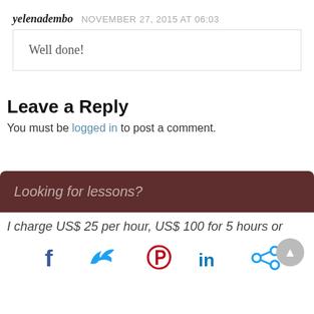yelenadembo  NOVEMBER 27, 2015 AT 06:03
Well done!
Leave a Reply
You must be logged in to post a comment.
Looking for lessons?
I charge US$ 25 per hour, US$ 100 for 5 hours or
[Figure (infographic): Social sharing icons: Facebook (f), Twitter (bird), Pinterest (P), LinkedIn (in), Share icon]